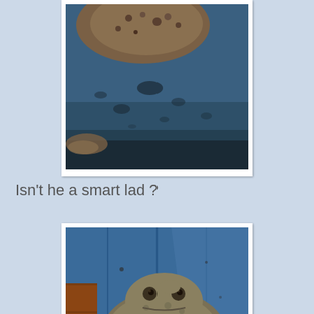[Figure (photo): Close-up photo of a toad on a blue surface, showing textured warty skin and dark spots, blurred background]
Isn't he a smart lad ?
[Figure (photo): Photo of a common toad (Bufo bufo) sitting on a blue wooden surface, showing full body with warty brown-grey skin, dark eyes, and brown brick visible to the left]